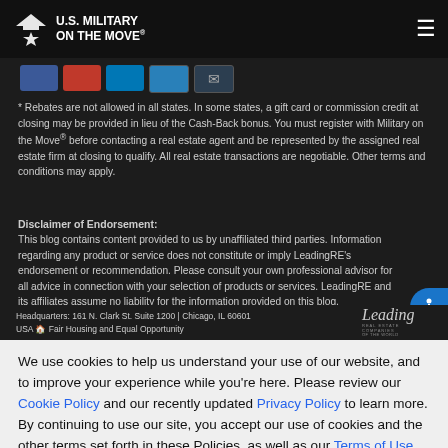U.S. MILITARY ON THE MOVE
* Rebates are not allowed in all states. In some states, a gift card or commission credit at closing may be provided in lieu of the Cash-Back bonus. You must register with Military on the Move® before contacting a real estate agent and be represented by the assigned real estate firm at closing to qualify. All real estate transactions are negotiable. Other terms and conditions may apply.
Disclaimer of Endorsement:
This blog contains content provided to us by unaffiliated third parties. Information regarding any product or service does not constitute or imply LeadingRE's endorsement or recommendation. Please consult your own professional advisor for all advice in connection with your selection of products or services. LeadingRE and its affiliates assume no liability for the information provided on this blog.
Headquarters: 161 N. Clark St. Suite 1200 | Chicago, IL 60601 USA  Fair Housing and Equal Opportunity
We use cookies to help us understand your use of our website, and to improve your experience while you're here. Please review our Cookie Policy and our recently updated Privacy Policy to learn more. By continuing to use our site, you accept our use of cookies and the other terms set forth in these Policies, as well as our Terms of Use.